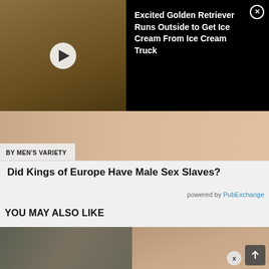[Figure (screenshot): Video thumbnail of a golden retriever dog being given ice cream]
Excited Golden Retriever Runs Outside to Get Ice Cream From Ice Cream Truck
[Figure (photo): Shirtless male torso with arms outstretched with 'BY MEN'S VARIETY' label]
Did Kings of Europe Have Male Sex Slaves?
powered by PubExchange
YOU MAY ALSO LIKE
[Figure (screenshot): Two side-by-side images: man in hat waving outdoors, and close-up of older person's eyes]